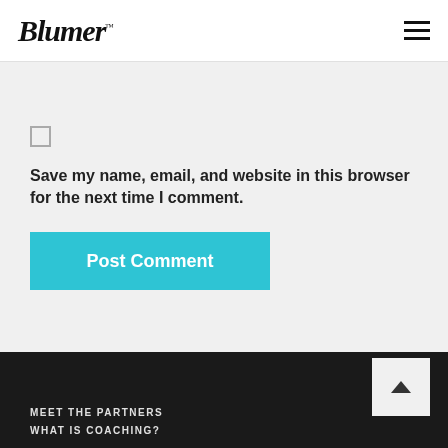Blumer™
Save my name, email, and website in this browser for the next time I comment.
Post Comment
MEET THE PARTNERS
WHAT IS COACHING?